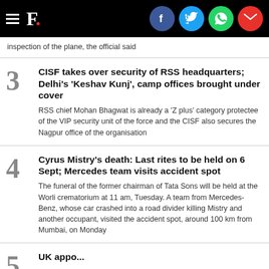F. [social icons: Facebook, Twitter, WhatsApp, Email]
inspection of the plane, the official said
CISF takes over security of RSS headquarters; Delhi's 'Keshav Kunj', camp offices brought under cover
RSS chief Mohan Bhagwat is already a 'Z plus' category protectee of the VIP security unit of the force and the CISF also secures the Nagpur office of the organisation
Cyrus Mistry's death: Last rites to be held on 6 Sept; Mercedes team visits accident spot
The funeral of the former chairman of Tata Sons will be held at the Worli crematorium at 11 am, Tuesday. A team from Mercedes-Benz, whose car crashed into a road divider killing Mistry and another occupant, visited the accident spot, around 100 km from Mumbai, on Monday